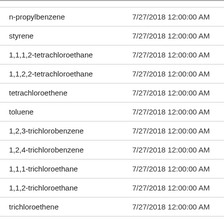| (name) | (date) |
| --- | --- |
| n-propylbenzene | 7/27/2018 12:00:00 AM |
| styrene | 7/27/2018 12:00:00 AM |
| 1,1,1,2-tetrachloroethane | 7/27/2018 12:00:00 AM |
| 1,1,2,2-tetrachloroethane | 7/27/2018 12:00:00 AM |
| tetrachloroethene | 7/27/2018 12:00:00 AM |
| toluene | 7/27/2018 12:00:00 AM |
| 1,2,3-trichlorobenzene | 7/27/2018 12:00:00 AM |
| 1,2,4-trichlorobenzene | 7/27/2018 12:00:00 AM |
| 1,1,1-trichloroethane | 7/27/2018 12:00:00 AM |
| 1,1,2-trichloroethane | 7/27/2018 12:00:00 AM |
| trichloroethene | 7/27/2018 12:00:00 AM |